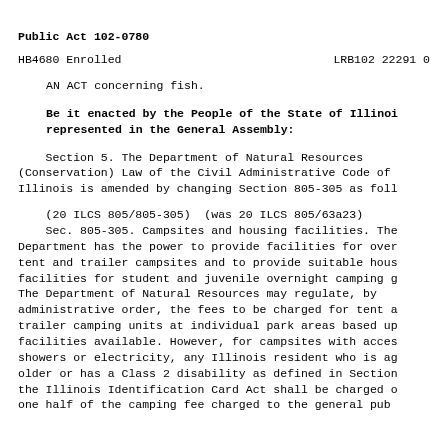Public Act 102-0780
HB4680 Enrolled                                    LRB102 22291 0
AN ACT concerning fish.
Be it enacted by the People of the State of Illinois, represented in the General Assembly:
Section 5. The Department of Natural Resources (Conservation) Law of the Civil Administrative Code of Illinois is amended by changing Section 805-305 as foll
(20 ILCS 805/805-305)  (was 20 ILCS 805/63a23)
    Sec. 805-305. Campsites and housing facilities. The Department has the power to provide facilities for over tent and trailer campsites and to provide suitable hous facilities for student and juvenile overnight camping g The Department of Natural Resources may regulate, by administrative order, the fees to be charged for tent a trailer camping units at individual park areas based up facilities available. However, for campsites with acces showers or electricity, any Illinois resident who is ag older or has a Class 2 disability as defined in Section the Illinois Identification Card Act shall be charged o one half of the camping fee charged to the general pub